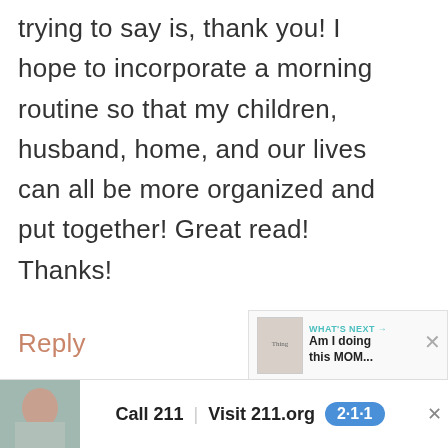trying to say is, thank you! I hope to incorporate a morning routine so that my children, husband, home, and our lives can all be more organized and put together! Great read! Thanks!
Reply
Monica says
JUNE 6, 2016 AT 1:15 AM
[Figure (screenshot): Advertisement banner: Call 211 | Visit 211.org with blue 2·1·1 badge logo, child photo on left]